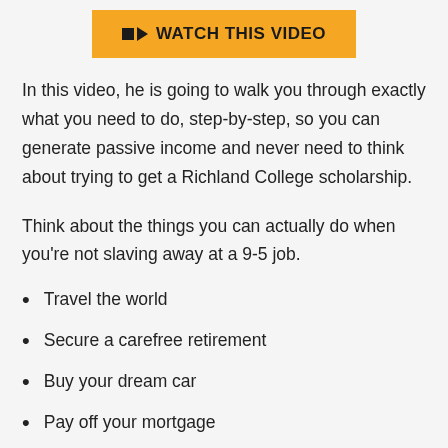[Figure (other): Orange button with video camera icon and text WATCH THIS VIDEO]
In this video, he is going to walk you through exactly what you need to do, step-by-step, so you can generate passive income and never need to think about trying to get a Richland College scholarship.
Think about the things you can actually do when you're not slaving away at a 9-5 job.
Travel the world
Secure a carefree retirement
Buy your dream car
Pay off your mortgage
Take up a new hobby